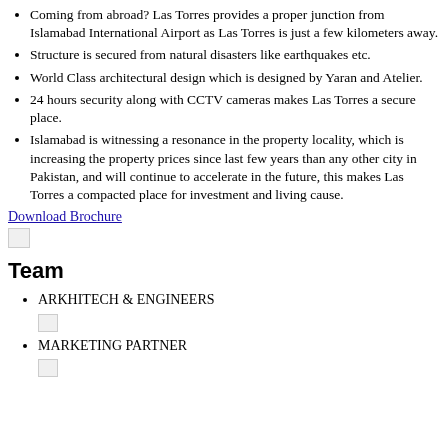Coming from abroad? Las Torres provides a proper junction from Islamabad International Airport as Las Torres is just a few kilometers away.
Structure is secured from natural disasters like earthquakes etc.
World Class architectural design which is designed by Yaran and Atelier.
24 hours security along with CCTV cameras makes Las Torres a secure place.
Islamabad is witnessing a resonance in the property locality, which is increasing the property prices since last few years than any other city in Pakistan, and will continue to accelerate in the future, this makes Las Torres a compacted place for investment and living cause.
Download Brochure
[Figure (photo): Small broken image placeholder below Download Brochure link]
Team
ARKHITECH & ENGINEERS
[Figure (photo): Small broken image placeholder below ARKHITECH & ENGINEERS]
MARKETING PARTNER
[Figure (photo): Small broken image placeholder below MARKETING PARTNER]